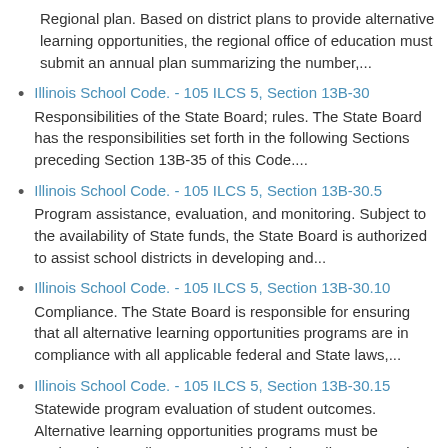Regional plan. Based on district plans to provide alternative learning opportunities, the regional office of education must submit an annual plan summarizing the number,...
Illinois School Code. - 105 ILCS 5, Section 13B-30
Responsibilities of the State Board; rules. The State Board has the responsibilities set forth in the following Sections preceding Section 13B-35 of this Code....
Illinois School Code. - 105 ILCS 5, Section 13B-30.5
Program assistance, evaluation, and monitoring. Subject to the availability of State funds, the State Board is authorized to assist school districts in developing and...
Illinois School Code. - 105 ILCS 5, Section 13B-30.10
Compliance. The State Board is responsible for ensuring that all alternative learning opportunities programs are in compliance with all applicable federal and State laws,...
Illinois School Code. - 105 ILCS 5, Section 13B-30.15
Statewide program evaluation of student outcomes. Alternative learning opportunities programs must be evaluated annually on a statewide basis. Indicators used to measure student outcomes for...